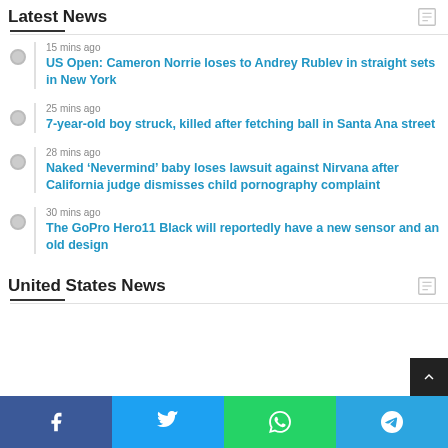Latest News
15 mins ago — US Open: Cameron Norrie loses to Andrey Rublev in straight sets in New York
25 mins ago — 7-year-old boy struck, killed after fetching ball in Santa Ana street
28 mins ago — Naked 'Nevermind' baby loses lawsuit against Nirvana after California judge dismisses child pornography complaint
30 mins ago — The GoPro Hero11 Black will reportedly have a new sensor and an old design
United States News